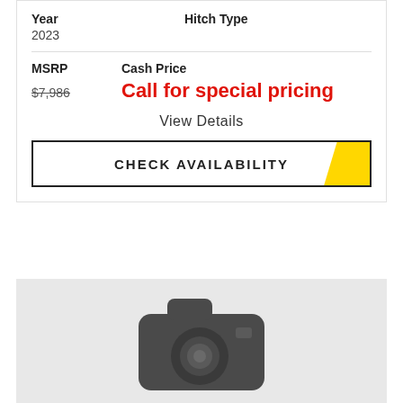Year
2023
Hitch Type
MSRP
Cash Price
$7,986
Call for special pricing
View Details
CHECK AVAILABILITY
[Figure (photo): Placeholder image with camera icon on grey background]